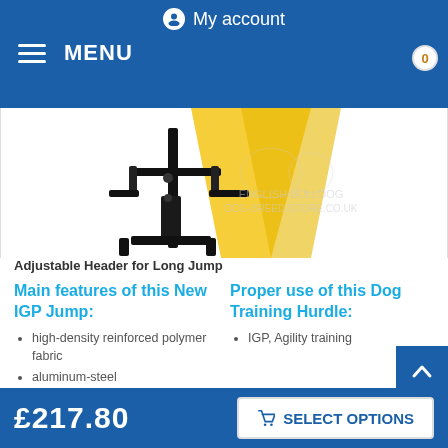My account | MENU | 0
[Figure (photo): Close-up photo of an adjustable metal header/pole stand for a long jump hurdle with yellow fabric in the background. Watermark reads ENGLISH-BULLDOG DOG-BREED-STORE.CO.UK]
Adjustable Header for Long Jump
Main features of this New IGP Jump:
Proper use of this Dog Training Hurdle:
high-density reinforced polymer fabric
aluminum-steel
IGP, Agility training
£217.80   SELECT OPTIONS